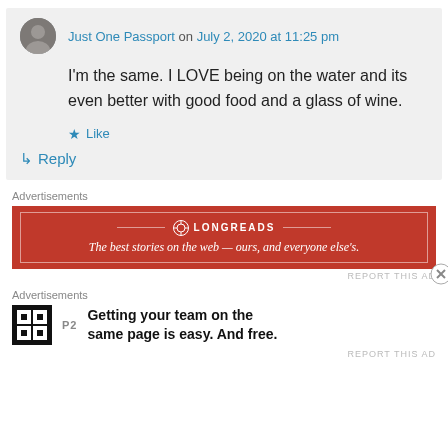Just One Passport on July 2, 2020 at 11:25 pm
I'm the same. I LOVE being on the water and its even better with good food and a glass of wine.
★ Like
↳ Reply
Advertisements
[Figure (other): Longreads advertisement banner: red background with white border and text 'LONGREADS - The best stories on the web — ours, and everyone else's.']
REPORT THIS AD
Advertisements
[Figure (other): P2 advertisement: black square logo with 'P2' text and tagline 'Getting your team on the same page is easy. And free.']
REPORT THIS AD